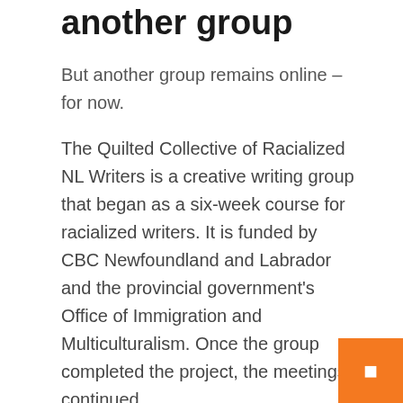another group
But another group remains online – for now.
The Quilted Collective of Racialized NL Writers is a creative writing group that began as a six-week course for racialized writers. It is funded by CBC Newfoundland and Labrador and the provincial government's Office of Immigration and Multiculturalism. Once the group completed the project, the meetings continued.
“We’re missing face-to-face interactions, and I think some of our members aren’t attending because of video conferencing,” said Sobia Shaikh, assistant professor at Memorial University’s School of Social Work and founding member. of the group.
Before the COVID-19 pandemic, she said, meetings